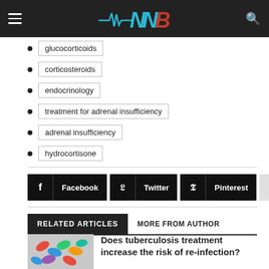NNB (Medical News Bulletin logo)
glucocorticoids
corticosteroids
endocrinology
treatment for adrenal insufficiency
adrenal insufficiency
hydrocortisone
[Figure (infographic): Social sharing buttons for Facebook, Twitter, Pinterest, and one blank/additional button]
RELATED ARTICLES   MORE FROM AUTHOR
[Figure (photo): Colorful pills and capsules, representing tuberculosis treatment medication]
Does tuberculosis treatment increase the risk of re-infection?